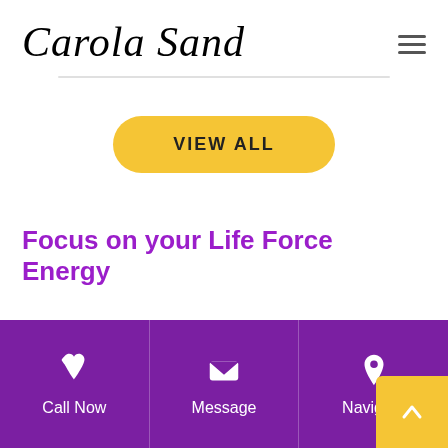Carola Sand
[Figure (other): Horizontal divider line below header content]
VIEW ALL
Focus on your Life Force Energy
Call Now | Message | Navigate